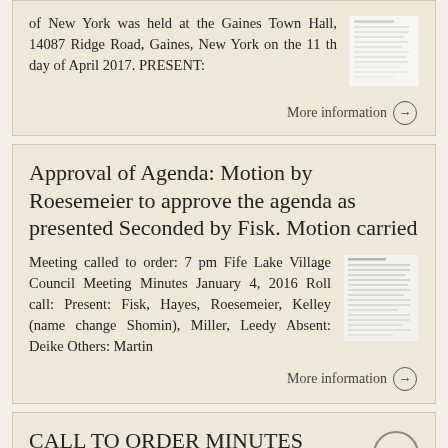of New York was held at the Gaines Town Hall, 14087 Ridge Road, Gaines, New York on the 11 th day of April 2017. PRESENT:
More information →
Approval of Agenda: Motion by Roesemeier to approve the agenda as presented Seconded by Fisk. Motion carried
Meeting called to order: 7 pm Fife Lake Village Council Meeting Minutes January 4, 2016 Roll call: Present: Fisk, Hayes, Roesemeier, Kelley (name change Shomin), Miller, Leedy Absent: Deike Others: Martin
More information →
CALL TO ORDER MINUTES AUGUST 20, 2013 TOWN CLERK REPORT